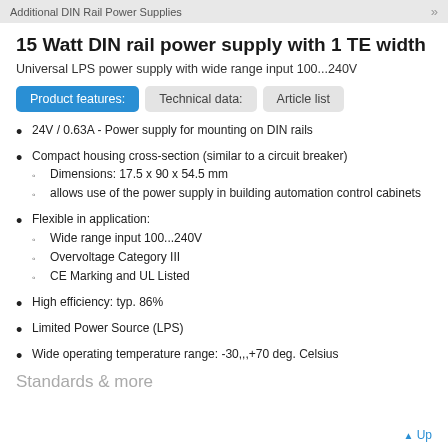Additional DIN Rail Power Supplies
15 Watt DIN rail power supply with 1 TE width
Universal LPS power supply with wide range input 100...240V
Tabs: Product features: | Technical data: | Article list
24V / 0.63A - Power supply for mounting on DIN rails
Compact housing cross-section (similar to a circuit breaker)
  - Dimensions: 17.5 x 90 x 54.5 mm
  - allows use of the power supply in building automation control cabinets
Flexible in application:
  - Wide range input 100...240V
  - Overvoltage Category III
  - CE Marking and UL Listed
High efficiency: typ. 86%
Limited Power Source (LPS)
Wide operating temperature range: -30,,,+70 deg. Celsius
Standards & more
▲ Up